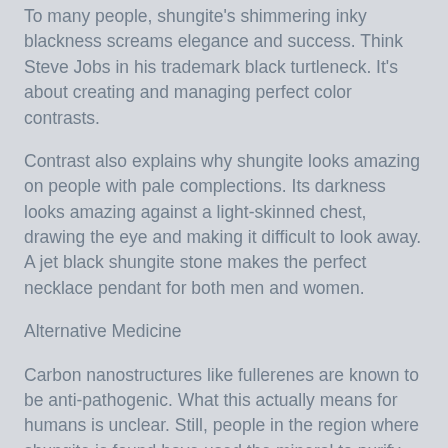To many people, shungite's shimmering inky blackness screams elegance and success. Think Steve Jobs in his trademark black turtleneck. It's about creating and managing perfect color contrasts.
Contrast also explains why shungite looks amazing on people with pale complections. Its darkness looks amazing against a light-skinned chest, drawing the eye and making it difficult to look away. A jet black shungite stone makes the perfect necklace pendant for both men and women.
Alternative Medicine
Carbon nanostructures like fullerenes are known to be anti-pathogenic. What this actually means for humans is unclear. Still, people in the region where shungite is found have used the mineral to purify water for centuries.
In the field of holistic medicine, drinking water that's infused with shungite is said to provide relief for a host of physical ailments, from allergies to chronic fatigue and liver problems.
Lastly, some people believe that shungite protects against electromagnetic radiation. Wearing a shungite stone pendant